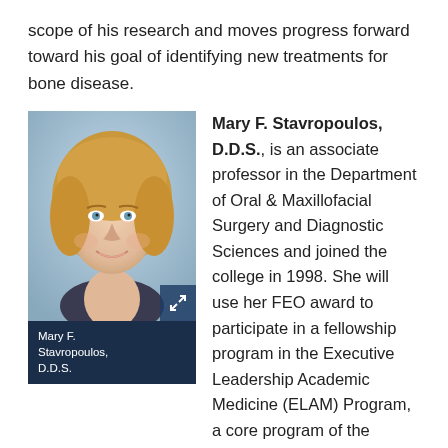scope of his research and moves progress forward toward his goal of identifying new treatments for bone disease.
[Figure (photo): Headshot photo of Mary F. Stavropoulos, D.D.S., a woman with short blonde hair, smiling, against a blue-grey background. Caption bar reads: Mary F. Stavropoulos, D.D.S.]
Mary F. Stavropoulos, D.D.S., is an associate professor in the Department of Oral & Maxillofacial Surgery and Diagnostic Sciences and joined the college in 1998. She will use her FEO award to participate in a fellowship program in the Executive Leadership Academic Medicine (ELAM) Program, a core program of the Institute for Women's Health and Leadership at Drexel University College of Medicine in Philadelphia, Pa.
The ELAM program is a year-long, part-time fellowship that focuses on preparing senior women faculty at academic health centers to move into positions of institutional